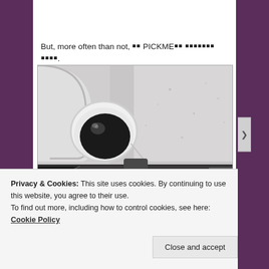But, more often than not, 이 PICKME의 이유이기도 하다.
[Figure (photo): Black and white photograph showing a CCTV dome security camera mounted in the upper left corner of a white ceiling/wall. In the lower portion of the image, a person wearing a hat and coat is reflected or visible through what appears to be a glass or mirror surface, looking at their phone.]
Privacy & Cookies: This site uses cookies. By continuing to use this website, you agree to their use.
To find out more, including how to control cookies, see here: Cookie Policy
Close and accept